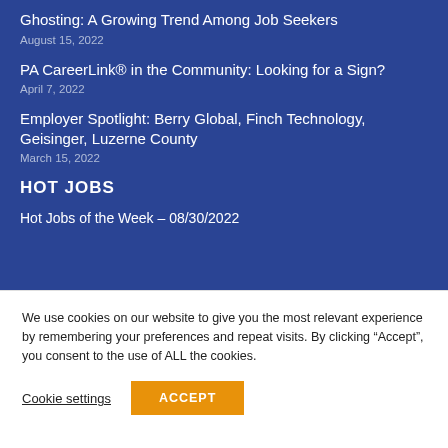Ghosting: A Growing Trend Among Job Seekers
August 15, 2022
PA CareerLink® in the Community: Looking for a Sign?
April 7, 2022
Employer Spotlight: Berry Global, Finch Technology, Geisinger, Luzerne County
March 15, 2022
HOT JOBS
Hot Jobs of the Week – 08/30/2022
We use cookies on our website to give you the most relevant experience by remembering your preferences and repeat visits. By clicking “Accept”, you consent to the use of ALL the cookies.
Cookie settings
ACCEPT